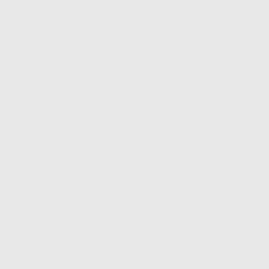Retroactive Grant of Mortgage R… Beach v. Beach (Okla.) Residence for Divorce in Oklahoma, Ed. 49
Bell v. Bell (N. Y.) Validity of Fo… 317.
Bennett v. Davis (Cal.) Mechanic… man, R. D. 278.
Blake v. Smith (R. I.) Slander-M… Defendant-Husband and Wife, R…
Blanck v. Sadlin (N. Y.) Mortgag… Coin, Ed. 69.
Board of Trade v. Nelson (Ill.) E… pension of Member-Review-Res… 398.
Bonga v. Weare Township (Mich… istence of Defect in Highway as … ligence, Ed. 189.
Bradley v. Sandlands (Minn.) Pro…